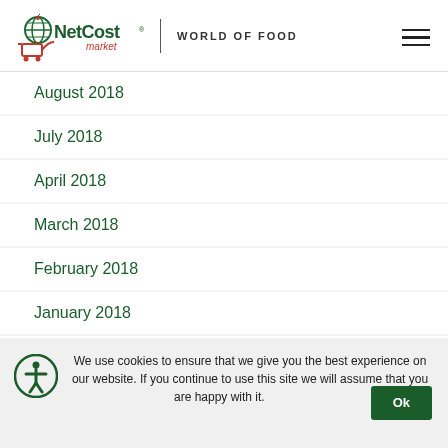[Figure (logo): NetCost Market logo with globe and shopping cart icon, text 'NetCost market | WORLD OF FOOD']
August 2018
July 2018
April 2018
March 2018
February 2018
January 2018
December 2017
November 2017
We use cookies to ensure that we give you the best experience on our website. If you continue to use this site we will assume that you are happy with it.